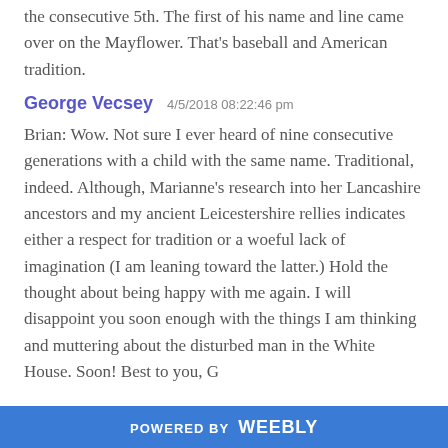the consecutive 5th. The first of his name and line came over on the Mayflower. That's baseball and American tradition.
George Vecsey  4/5/2018 08:22:46 pm
Brian: Wow. Not sure I ever heard of nine consecutive generations with a child with the same name. Traditional, indeed. Although, Marianne's research into her Lancashire ancestors and my ancient Leicestershire rellies indicates either a respect for tradition or a woeful lack of imagination (I am leaning toward the latter.) Hold the thought about being happy with me again. I will disappoint you soon enough with the things I am thinking and muttering about the disturbed man in the White House. Soon! Best to you, G
POWERED BY weebly